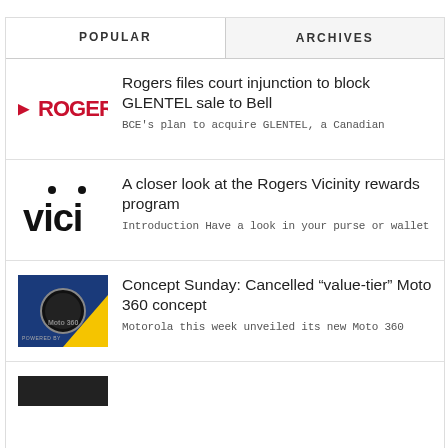POPULAR
ARCHIVES
[Figure (logo): Rogers logo — partial text in red bold font showing 'ROGER']
Rogers files court injunction to block GLENTEL sale to Bell
BCE's plan to acquire GLENTEL, a Canadian
[Figure (logo): Vici logo — black text 'vici' with dots above letters i]
A closer look at the Rogers Vicinity rewards program
Introduction Have a look in your purse or wallet
[Figure (photo): Moto 360 smartwatch on blue and yellow background]
Concept Sunday: Cancelled “value-tier” Moto 360 concept
Motorola this week unveiled its new Moto 360
[Figure (photo): Partial image visible at bottom of page]